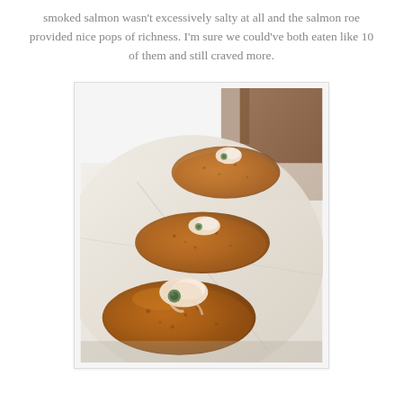smoked salmon wasn't excessively salty at all and the salmon roe provided nice pops of richness. I'm sure we could've both eaten like 10 of them and still craved more.
[Figure (photo): A row of golden-brown fried croquettes topped with creamy sauce and salmon roe, arranged on white paper/napkin, photographed from a slight angle.]